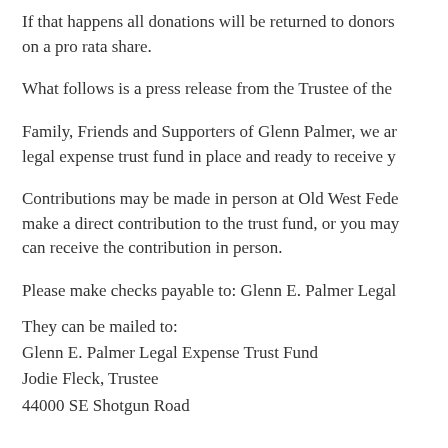If that happens all donations will be returned to donors on a pro rata share.
What follows is a press release from the Trustee of the
Family, Friends and Supporters of Glenn Palmer, we are legal expense trust fund in place and ready to receive y
Contributions may be made in person at Old West Fede make a direct contribution to the trust fund, or you may can receive the contribution in person.
Please make checks payable to: Glenn E. Palmer Legal
They can be mailed to:
Glenn E. Palmer Legal Expense Trust Fund
Jodie Fleck, Trustee
44000 SE Shotgun Road